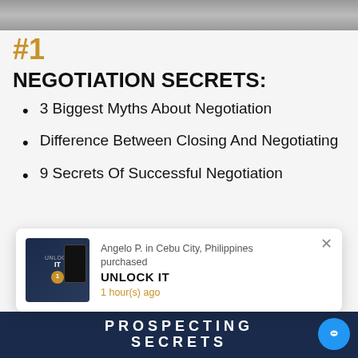[Figure (photo): Top grey banner/header image strip]
#1
NEGOTIATION SECRETS:
3 Biggest Myths About Negotiation
Difference Between Closing And Negotiating
9 Secrets Of Successful Negotiation
[Figure (infographic): Popup notification showing Angelo P. in Cebu City, Philippines purchased UNLOCK IT, 1 hour(s) ago, with book cover image]
[Figure (photo): Bottom dark navy banner showing PROSPECTING SECRETS text]